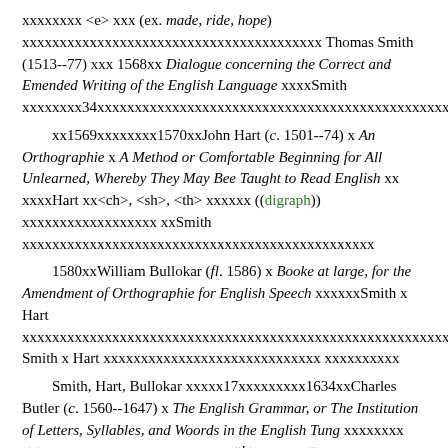xxxxxxxx <e> xxx (ex. made, ride, hope) xxxxxxxxxxxxxxxxxxxxxxxxxxxxxxxxxxxxxxxx Thomas Smith (1513--77) xxx 1568xx Dialogue concerning the Correct and Emended Writing of the English Language xxxxSmith xxxxxxxx34xxxxxxxxx xxxxxxxxxxxxxxxxxxxxxxxxxxxxxxxxxxxxxxxxxxxxxxxxxxxxxx
xx1569xxxxxxxx1570xxJohn Hart (c. 1501--74) x An Orthographie x A Method or Comfortable Beginning for All Unlearned, Whereby They May Bee Taught to Read English xx xxxxHart xx<ch>, <sh>, <th> xxxxxx ((digraph)) xxxxxxxxxxxxxxxxxx xxSmith xxxxxxxxxxxxxxxxxxxxxxxxxxxxxxxxxxxxxxxxxxxxxxx
1580xxWilliam Bullokar (fl. 1586) x Booke at large, for the Amendment of Orthographie for English Speech xxxxxxSmith x Hart xxxxxxxxxxxxxxxxxxxxxxxxxxxxxxxxxxxxxxxxxxxxxxxxxxxxxxxxxxxxxxxx xxxxxxxxxxxxxxxxxxxxxxxxxxxxxxxxx Smith x Hart xxxxxxxxxxxxxxxxxxxxxxxxxxxxx xxxxxxxxxx
Smith, Hart, Bullokar xxxxx17xxxxxxxxx1634xxCharles Butler (c. 1560--1647) x The English Grammar, or The Institution of Letters, Syllables, and Woords in the English Tung xxxxxxxx <e> xxxxxxxxxxxxxxxxxxxxxxxx<th> xxxxx <t> xxxxxxxxxxxxxxxx